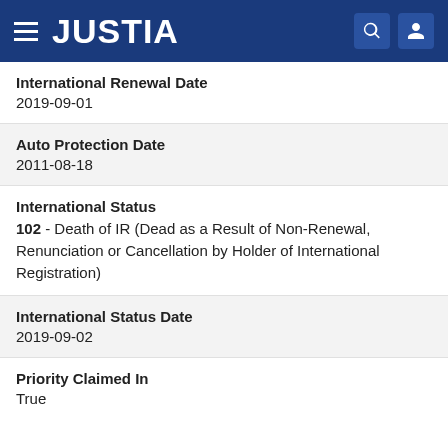[Figure (logo): Justia website header with hamburger menu, JUSTIA logo in white on dark blue background, and search/profile icon buttons]
International Renewal Date
2019-09-01
Auto Protection Date
2011-08-18
International Status
102 - Death of IR (Dead as a Result of Non-Renewal, Renunciation or Cancellation by Holder of International Registration)
International Status Date
2019-09-02
Priority Claimed In
True